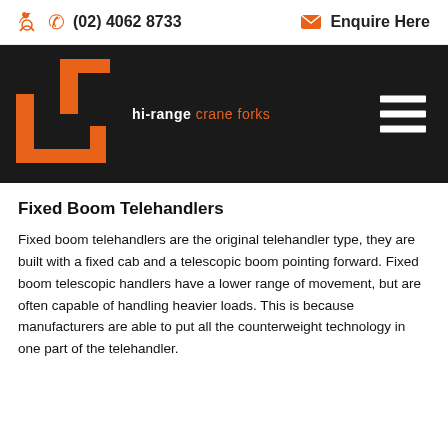(02) 4062 8733   Enquire Here
[Figure (logo): Hi-range crane forks logo on black navigation bar with hamburger menu icon]
Fixed Boom Telehandlers
Fixed boom telehandlers are the original telehandler type, they are built with a fixed cab and a telescopic boom pointing forward. Fixed boom telescopic handlers have a lower range of movement, but are often capable of handling heavier loads. This is because manufacturers are able to put all the counterweight technology in one part of the telehandler.